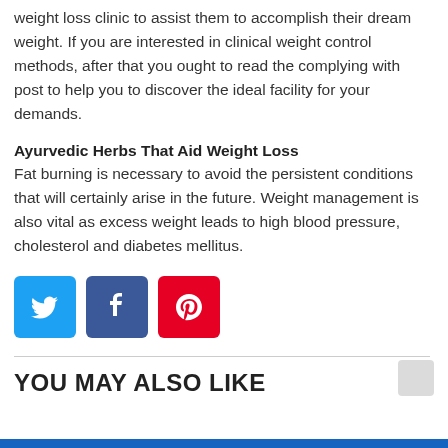weight loss clinic to assist them to accomplish their dream weight. If you are interested in clinical weight control methods, after that you ought to read the complying with post to help you to discover the ideal facility for your demands.
Ayurvedic Herbs That Aid Weight Loss
Fat burning is necessary to avoid the persistent conditions that will certainly arise in the future. Weight management is also vital as excess weight leads to high blood pressure, cholesterol and diabetes mellitus.
[Figure (infographic): Three social media sharing buttons: Twitter (blue), Facebook (dark blue), Pinterest (red)]
YOU MAY ALSO LIKE